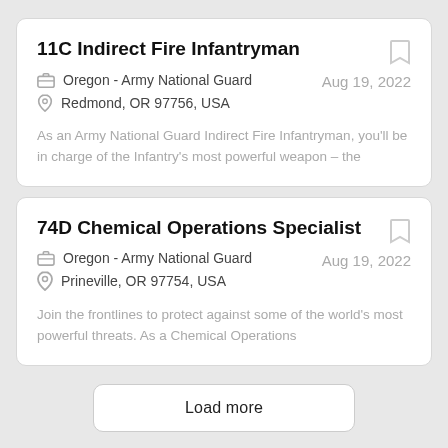11C Indirect Fire Infantryman
Oregon - Army National Guard
Redmond, OR 97756, USA
Aug 19, 2022
As an Army National Guard Indirect Fire Infantryman, you'll be in charge of the Infantry's most powerful weapon – the
74D Chemical Operations Specialist
Oregon - Army National Guard
Prineville, OR 97754, USA
Aug 19, 2022
Join the frontlines to protect against some of the world's most powerful threats. As a Chemical Operations
Load more